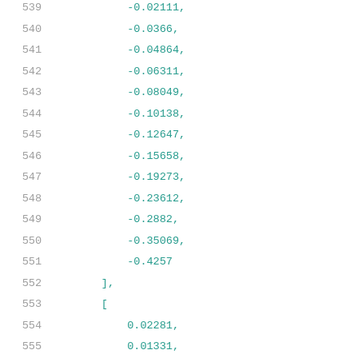539 ... -0.02111,
540     -0.0366,
541     -0.04864,
542     -0.06311,
543     -0.08049,
544     -0.10138,
545     -0.12647,
546     -0.15658,
547     -0.19273,
548     -0.23612,
549     -0.2882,
550     -0.35069,
551     -0.4257
552 ],
553 [
554     0.02281,
555     0.01331,
556     0.0114,
557     0.00913,
558     0.00638,
559     0.00309,
560     -0.0009,